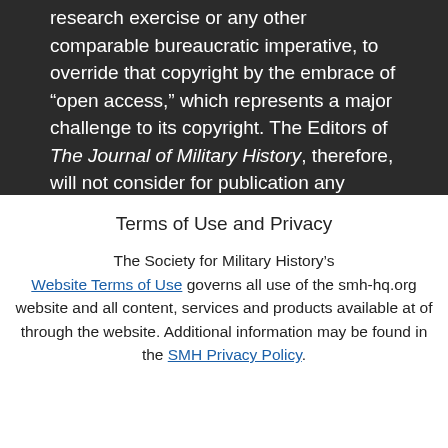research exercise or any other comparable bureaucratic imperative, to override that copyright by the embrace of “open access,” which represents a major challenge to its copyright. The Editors of The Journal of Military History, therefore, will not consider for publication any article, from whatever source, that involves the infringement of the Society’s copyright. It considers the interests of all
Terms of Use and Privacy
The Society for Military History's Website Terms of Use governs all use of the smh-hq.org website and all content, services and products available at of through the website. Additional information may be found in the SMH Privacy Policy.